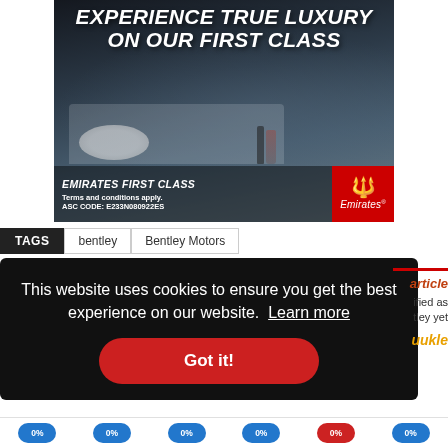[Figure (photo): Emirates First Class advertisement showing luxury cabin with dining setup, headline 'EXPERIENCE TRUE LUXURY ON OUR FIRST CLASS', Emirates logo, terms and ASC code]
TAGS  bentley  Bentley Motors
This website uses cookies to ensure you get the best experience on our website.  Learn more
Got it!
article
ified as tley yet
uukle
0%  0%  0%  0%  0%  0%